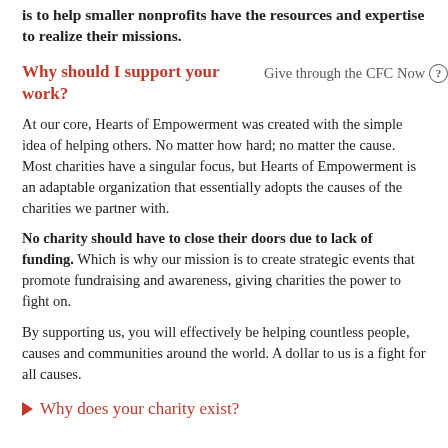is to help smaller nonprofits have the resources and expertise to realize their missions.
Why should I support your work?
Give through the CFC Now
At our core, Hearts of Empowerment was created with the simple idea of helping others. No matter how hard; no matter the cause. Most charities have a singular focus, but Hearts of Empowerment is an adaptable organization that essentially adopts the causes of the charities we partner with.
No charity should have to close their doors due to lack of funding. Which is why our mission is to create strategic events that promote fundraising and awareness, giving charities the power to fight on.
By supporting us, you will effectively be helping countless people, causes and communities around the world. A dollar to us is a fight for all causes.
Why does your charity exist?